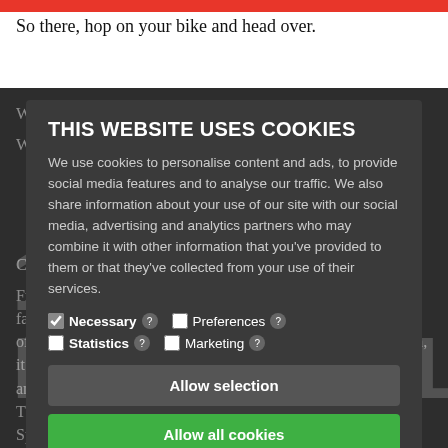So there, hop on your bike and head over.
Where: Godthaabsvej 12, 2000 Frederiksberg
We use restaurants to perform...
10 LACENBAL...
Cuisine: Lebanese
Frankly, this place exists on the list purely because of the fantastic array of tapas they provide and not for their Lebanese offerings. Located right between the party point of Copenhagen, it is open early into the morning every day. The tapas are amazing, there is a brilliant variety, and they are quite filling. They define tapas in their own way a bit further away form the Spanish philosophy, but be it a snack on the
[Figure (screenshot): Cookie consent overlay with title 'THIS WEBSITE USES COOKIES', body text explaining cookie usage, checkboxes for Necessary (checked), Preferences, Statistics, Marketing, and two buttons: 'Allow selection' (grey) and 'Allow all cookies' (green).]